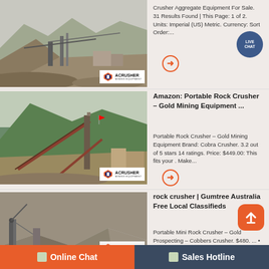[Figure (photo): Mining/quarry site with conveyor belts, machinery, and mountains in background. ACrusher Mining Equipment logo overlay.]
Crusher Aggregate Equipment For Sale. 31 Results Found | This Page: 1 of 2. Units: Imperial (US) Metric. Currency: Sort Order:...
[Figure (photo): Mining plant with conveyor belts and green mountains in background. ACrusher Mining Equipment logo overlay.]
Amazon: Portable Rock Crusher – Gold Mining Equipment ...
Portable Rock Crusher – Gold Mining Equipment Brand: Cobra Crusher. 3.2 out of 5 stars 14 ratings. Price: $449.00: This fits your . Make...
[Figure (photo): Rocky quarry/mine site with heavy machinery and cliff face. ACrusher logo overlay.]
rock crusher | Gumtree Australia Free Local Classifieds
Portable Mini Rock Crusher – Gold Prospecting – Cobbers Crusher. $480. ... • *Option to buy separately OR these 7 sets for $150 OR all...
Online Chat
Sales Hotline